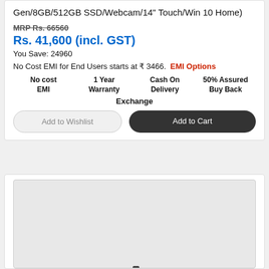Gen/8GB/512GB SSD/Webcam/14" Touch/Win 10 Home)
MRP Rs. 66560
Rs. 41,600 (incl. GST)
You Save: 24960
No Cost EMI for End Users starts at ₹ 3466.  EMI Options
No cost EMI
1 Year Warranty
Cash On Delivery
50% Assured Buy Back
Exchange
Add to Wishlist
Add to Cart
[Figure (photo): Laptop computer shown from front view with blue screen display, partial view inside a product card section]